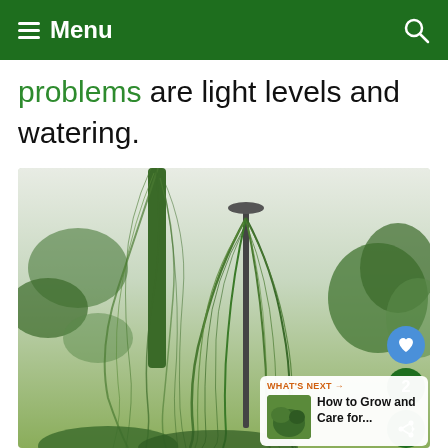Menu
problems are light levels and watering.
[Figure (photo): Lush hanging green plants with trailing foliage cascading from a metal stand, surrounded by other green plants in a bright indoor setting.]
WHAT'S NEXT → How to Grow and Care for...